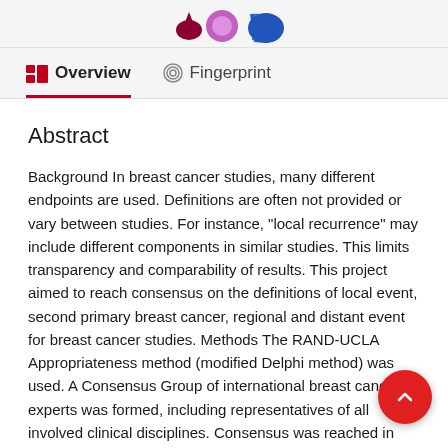[Figure (other): Top decorative icons/logos — colored drop/badge icons on light grey background]
Overview   Fingerprint
Abstract
Background In breast cancer studies, many different endpoints are used. Definitions are often not provided or vary between studies. For instance, "local recurrence" may include different components in similar studies. This limits transparency and comparability of results. This project aimed to reach consensus on the definitions of local event, second primary breast cancer, regional and distant event for breast cancer studies. Methods The RAND-UCLA Appropriateness method (modified Delphi method) was used. A Consensus Group of international breast cancer experts was formed, including representatives of all involved clinical disciplines. Consensus was reached in two rounds of online questionnaires and one meeting. Results Twenty-four international breast cancer experts participated.